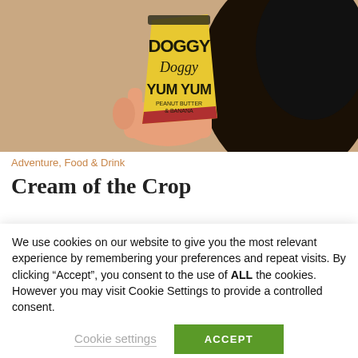[Figure (photo): A hand holding a yellow cup of 'Doggy Doggy Yum Yum Peanut Butter & Banana' treat, with a dark fluffy dog in the background]
Adventure, Food & Drink
Cream of the Crop
We use cookies on our website to give you the most relevant experience by remembering your preferences and repeat visits. By clicking "Accept", you consent to the use of ALL the cookies. However you may visit Cookie Settings to provide a controlled consent.
Cookie settings
ACCEPT